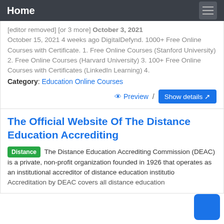Home
[editor removed] [or 3 more] October 3, 2021 October 15, 2021 4 weeks ago DigitalDefynd. 1000+ Free Online Courses with Certificate. 1. Free Online Courses (Stanford University) 2. Free Online Courses (Harvard University) 3. 100+ Free Online Courses with Certificates (LinkedIn Learning) 4.
Category: Education Online Courses
Preview / Show details
The Official Website Of The Distance Education Accrediting
Distance The Distance Education Accrediting Commission (DEAC) is a private, non-profit organization founded in 1926 that operates as an institutional accreditor of distance education institutions. Accreditation by DEAC covers all distance education